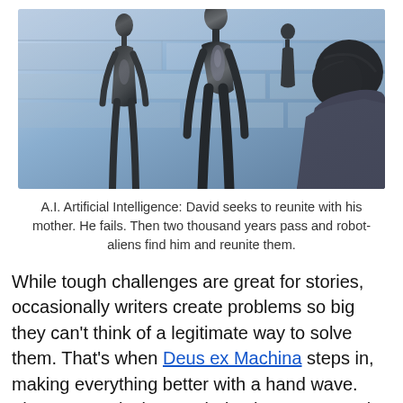[Figure (photo): Scene from A.I. Artificial Intelligence showing tall, slender dark metallic alien/robot figures standing against a light blue stone wall, with a human figure (David) seen from behind on the right side.]
A.I. Artificial Intelligence: David seeks to reunite with his mother. He fails. Then two thousand years pass and robot-aliens find him and reunite them.
While tough challenges are great for stories, occasionally writers create problems so big they can't think of a legitimate way to solve them. That's when Deus ex Machina steps in, making everything better with a hand wave. The protagonist is revealed to have an amazing skill or incredible